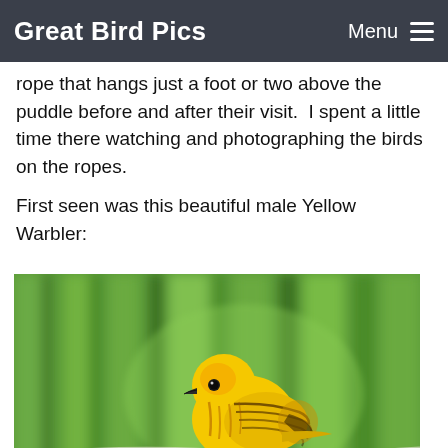Great Bird Pics  Menu
rope that hangs just a foot or two above the puddle before and after their visit.  I spent a little time there watching and photographing the birds on the ropes.
First seen was this beautiful male Yellow Warbler:
[Figure (photo): A yellow male Yellow Warbler perched on a twisted white rope, with a blurred green background of tall grass.]